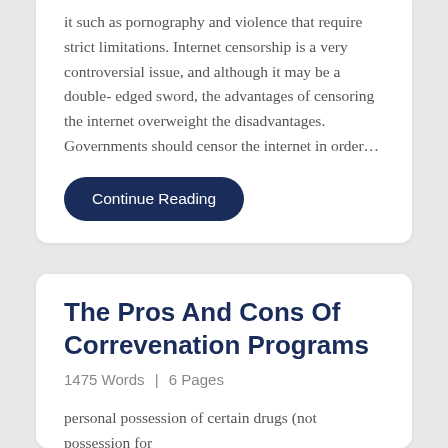it such as pornography and violence that require strict limitations. Internet censorship is a very controversial issue, and although it may be a double- edged sword, the advantages of censoring the internet overweight the disadvantages. Governments should censor the internet in order…
Continue Reading
The Pros And Cons Of Correvenation Programs
1475 Words | 6 Pages
personal possession of certain drugs (not possession for